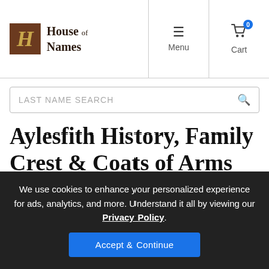House of Names — Menu — Cart (0)
LAST NAME SEARCH
Aylesfith History, Family Crest & Coats of Arms
Origins Available: England
We use cookies to enhance your personalized experience for ads, analytics, and more. Understand it all by viewing our Privacy Policy.
Accept & Continue